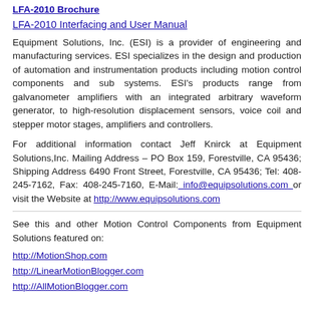LFA-2010 Brochure
LFA-2010 Interfacing and User Manual
Equipment Solutions, Inc. (ESI) is a provider of engineering and manufacturing services. ESI specializes in the design and production of automation and instrumentation products including motion control components and sub systems. ESI's products range from galvanometer amplifiers with an integrated arbitrary waveform generator, to high-resolution displacement sensors, voice coil and stepper motor stages, amplifiers and controllers.
For additional information contact Jeff Knirck at Equipment Solutions,Inc. Mailing Address – PO Box 159, Forestville, CA 95436; Shipping Address 6490 Front Street, Forestville, CA 95436; Tel: 408-245-7162, Fax: 408-245-7160, E-Mail: info@equipsolutions.com or visit the Website at http://www.equipsolutions.com
See this and other Motion Control Components from Equipment Solutions featured on:
http://MotionShop.com
http://LinearMotionBlogger.com
http://AllMotionBlogger.com